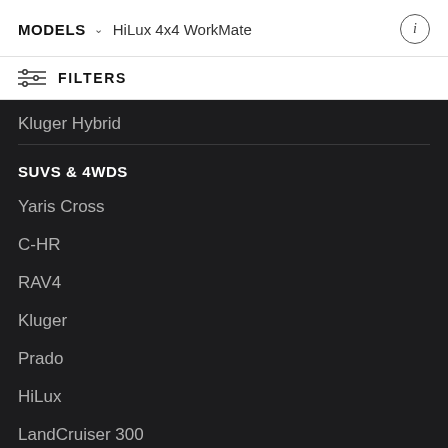MODELS   HiLux 4x4 WorkMate
FILTERS
Kluger Hybrid
SUVS & 4WDS
Yaris Cross
C-HR
RAV4
Kluger
Prado
HiLux
LandCruiser 300
Fortuner